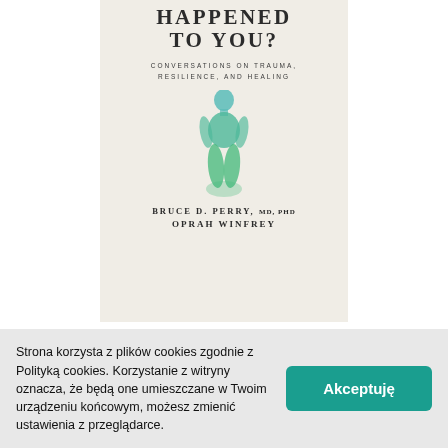[Figure (illustration): Book cover for 'What Happened to You? Conversations on Trauma, Resilience, and Healing' by Bruce D. Perry, MD, PhD and Oprah Winfrey. Beige/off-white cover with large serif title text partially visible at top, subtitle in small caps, a watercolor-style figure of a person rendered in teal and green tones in the center, and author names at the bottom in spaced serif lettering.]
Strona korzysta z plików cookies zgodnie z Polityką cookies. Korzystanie z witryny oznacza, że będą one umieszczane w Twoim urządzeniu końcowym, możesz zmienić ustawienia z przeglądarce.